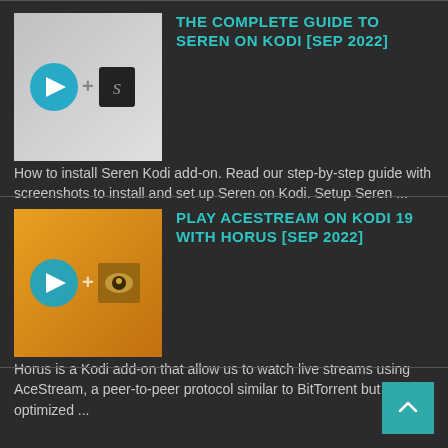THE COMPLETE GUIDE TO SEREN ON KODI [SEP 2022]
How to install Seren Kodi add-on. Read our step-by-step guide with screenshots to install and set up Seren on Kodi. Setup Seren ...
PLAY ACESTREAM ON KODI 19 WITH HORUS [SEP 2022]
Horus is a Kodi add-on that allow us to watch live streams using AceStream, a peer-to-peer protocol similar to BitTorrent but optimized ...